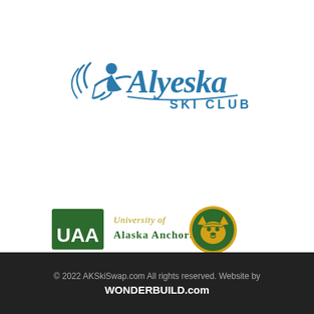[Figure (logo): Alyeska Ski Club logo - blue stylized skier figure with 'Alyeska' in bold blue italic script lettering and 'SKI CLUB' in smaller blue capitals beneath, with curved motion lines to the left]
[Figure (logo): University of Alaska Anchorage (UAA) logo - green rectangle with white 'UAA' text on left, 'University of Alaska Anchorage' in green and gold serif text in center, and a gold/green circular wolf head mascot on the right]
© 2022 AKSkiSwap.com All rights reserved. Website by WONDERBUILD.com